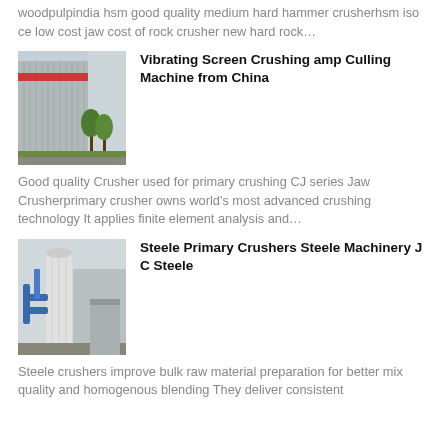woodpulpindia hsm good quality medium hard hammer crusherhsm iso ce low cost jaw cost of rock crusher new hard rock…
[Figure (photo): Photo of industrial building exterior with equipment and trees]
Vibrating Screen Crushing amp Culling Machine from China
Good quality Crusher used for primary crushing CJ series Jaw Crusherprimary crusher owns world's most advanced crushing technology It applies finite element analysis and…
[Figure (photo): Photo of industrial machinery with silos and pipes]
Steele Primary Crushers Steele Machinery J C Steele
Steele crushers improve bulk raw material preparation for better mix quality and homogenous blending They deliver consistent